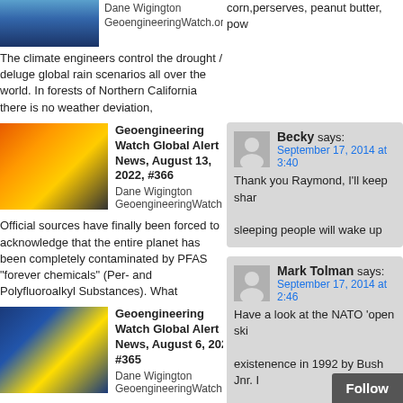The climate engineers control the drought / deluge global rain scenarios all over the world. In forests of Northern California there is no weather deviation,
[Figure (photo): Thumbnail image for Geoengineering Watch article, fire/satellite imagery]
Geoengineering Watch Global Alert News, August 13, 2022, #366
Dane Wigington GeoengineeringWatch.org
Official sources have finally been forced to acknowledge that the entire planet has been completely contaminated by PFAS "forever chemicals" (Per- and Polyfluoroalkyl Substances). What
[Figure (photo): Thumbnail image for Geoengineering Watch article, storm satellite imagery]
Geoengineering Watch Global Alert News, August 6, 2022, #365
Dane Wigington GeoengineeringWatch.org
Weather cataclysms are wreaking havoc all over the world. We are led to believe these are all "natural disasters", but what aren't we being
corn,perserves, peanut butter, pow
Becky says:
September 17, 2014 at 3:40
Thank you Raymond, I'll keep shar
sleeping people will wake up
Mark Tolman says:
September 17, 2014 at 2:46
Have a look at the NATO 'open ski
existenence in 1992 by Bush Jnr. I
was invented at all.
Follow